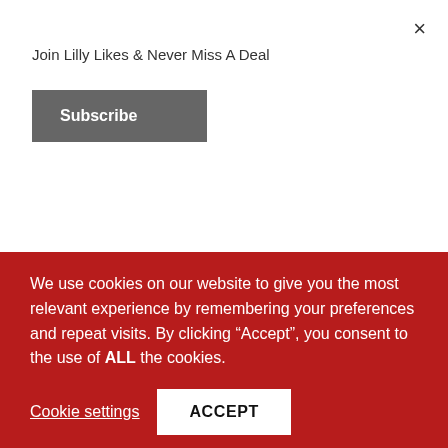Join Lilly Likes & Never Miss A Deal
Subscribe
What’s included in this premium Gin Box Membership deal, perfect for the gin lover in your life? You get three 50ml bottles of artisan gin every month, instead of the usual two (of the standard subscription). Out of
We use cookies on our website to give you the most relevant experience by remembering your preferences and repeat visits. By clicking “Accept”, you consent to the use of ALL the cookies.
Cookie settings
ACCEPT